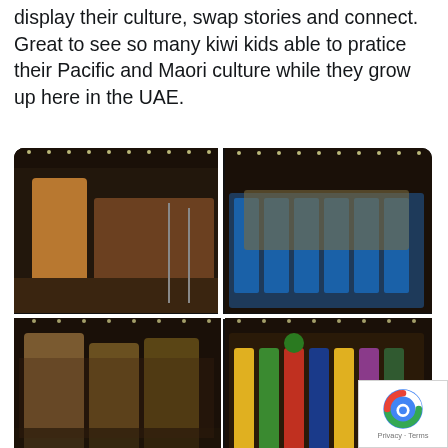display their culture, swap stories and connect. Great to see so many kiwi kids able to pratice their Pacific and Maori culture while they grow up here in the UAE.
[Figure (photo): Four-photo grid showing Maori/Pacific cultural performance: top-left shows a male performer doing a haka with women in traditional skirts behind him; top-right shows a group in blue shirts with traditional cloaks; bottom-left shows men performing haka in energetic poses; bottom-right shows a large group including children in colorful traditional attire.]
6:51 PM · Jun 14, 2019
♥ 57   Reply   Copy link
Read 2 replies